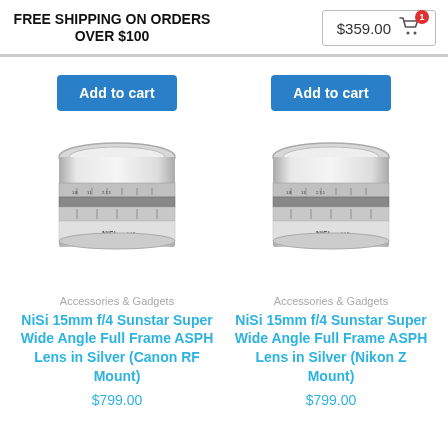FREE SHIPPING ON ORDERS OVER $100   $359.00 [cart]
Add to cart
Add to cart
[Figure (photo): NiSi 15mm f/4 Sunstar Super Wide Angle Full Frame ASPH Lens in Silver camera lens product photo]
[Figure (photo): NiSi 15mm f/4 Sunstar Super Wide Angle Full Frame ASPH Lens in Silver camera lens product photo]
Accessories & Gadgets
Accessories & Gadgets
NiSi 15mm f/4 Sunstar Super Wide Angle Full Frame ASPH Lens in Silver (Canon RF Mount)
NiSi 15mm f/4 Sunstar Super Wide Angle Full Frame ASPH Lens in Silver (Nikon Z Mount)
$799.00
$799.00